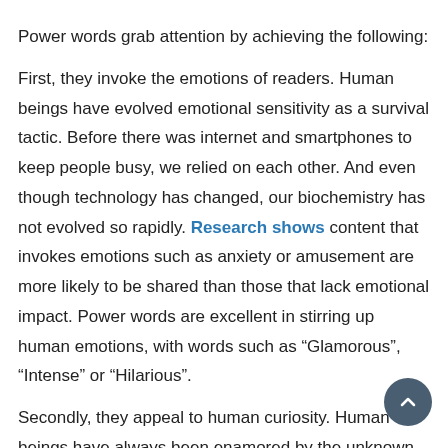Power words grab attention by achieving the following:
First, they invoke the emotions of readers. Human beings have evolved emotional sensitivity as a survival tactic. Before there was internet and smartphones to keep people busy, we relied on each other. And even though technology has changed, our biochemistry has not evolved so rapidly. Research shows content that invokes emotions such as anxiety or amusement are more likely to be shared than those that lack emotional impact. Power words are excellent in stirring up human emotions, with words such as “Glamorous”, “Intense” or “Hilarious”.
Secondly, they appeal to human curiosity. Human beings have always been enamored by the unknown. Curiosity, the driving